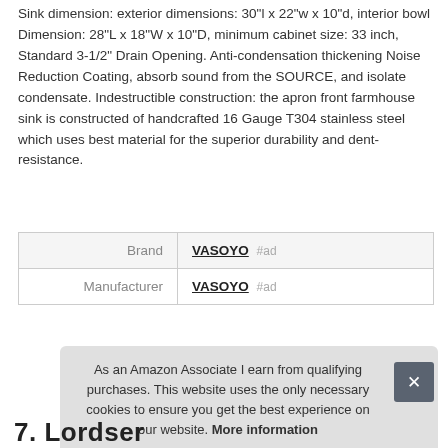Sink dimension: exterior dimensions: 30"l x 22"w x 10"d, interior bowl Dimension: 28"L x 18"W x 10"D, minimum cabinet size: 33 inch, Standard 3-1/2" Drain Opening. Anti-condensation thickening Noise Reduction Coating, absorb sound from the SOURCE, and isolate condensate. Indestructible construction: the apron front farmhouse sink is constructed of handcrafted 16 Gauge T304 stainless steel which uses best material for the superior durability and dent-resistance.
|  |  |
| --- | --- |
| Brand | VASOYO #ad |
| Manufacturer | VASOYO #ad |
As an Amazon Associate I earn from qualifying purchases. This website uses the only necessary cookies to ensure you get the best experience on our website. More information
7. Lordser